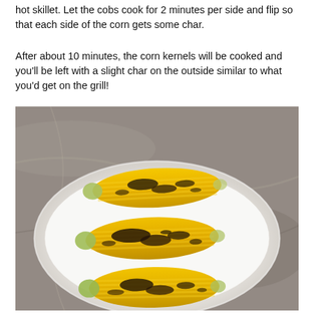hot skillet. Let the cobs cook for 2 minutes per side and flip so that each side of the corn gets some char.
After about 10 minutes, the corn kernels will be cooked and you'll be left with a slight char on the outside similar to what you'd get on the grill!
[Figure (photo): Three ears of charred grilled corn on a white oval plate, placed on a marble surface.]